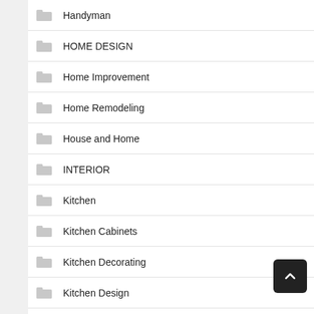Handyman
HOME DESIGN
Home Improvement
Home Remodeling
House and Home
INTERIOR
Kitchen
Kitchen Cabinets
Kitchen Decorating
Kitchen Design